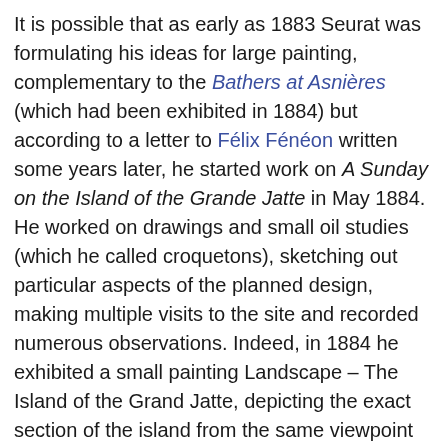It is possible that as early as 1883 Seurat was formulating his ideas for large painting, complementary to the Bathers at Asnières (which had been exhibited in 1884) but according to a letter to Félix Fénéon written some years later, he started work on A Sunday on the Island of the Grande Jatte in May 1884. He worked on drawings and small oil studies (which he called croquetons), sketching out particular aspects of the planned design, making multiple visits to the site and recorded numerous observations. Indeed, in 1884 he exhibited a small painting Landscape – The Island of the Grand Jatte, depicting the exact section of the island from the same viewpoint as the finished painting but completely devoid of any figures. It seems that in the spring of 1885, he had completed the basic composition and that he originally planned to exhibit the painting that year. This did not happen and after spending the summer of 1885 in Normandy working on his coastal paintings he returned to Paris to continue work on the Grande Jatte, adding a layer of dots of pure colour...